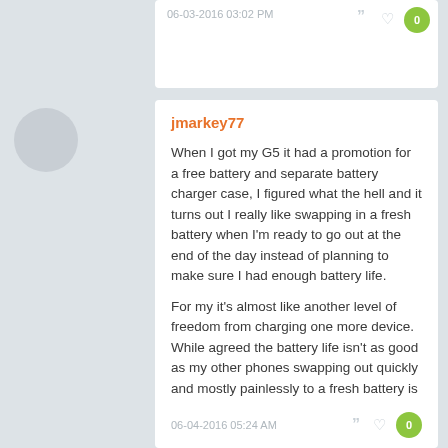06-03-2016 03:02 PM
jmarkey77
When I got my G5 it had a promotion for a free battery and separate battery charger case, I figured what the hell and it turns out I really like swapping in a fresh battery when I'm ready to go out at the end of the day instead of planning to make sure I had enough battery life.
For my it's almost like another level of freedom from charging one more device. While agreed the battery life isn't as good as my other phones swapping out quickly and mostly painlessly to a fresh battery is far better than making sure I have enough juice on phones with better battery life in my experience.
06-04-2016 05:24 AM